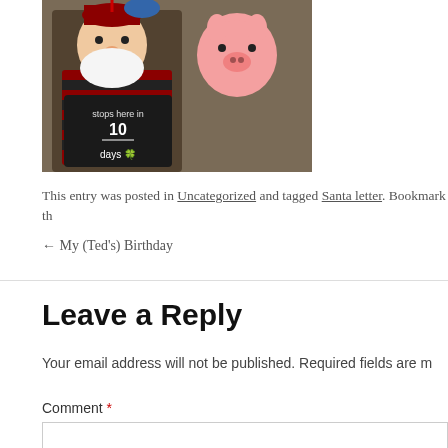[Figure (photo): A Christmas countdown decoration featuring a Santa Claus figure in a red and black striped outfit next to a pig figurine. A chalkboard sign reads 'stops here in 10 days'.]
This entry was posted in Uncategorized and tagged Santa letter. Bookmark th
← My (Ted's) Birthday
Leave a Reply
Your email address will not be published. Required fields are m
Comment *